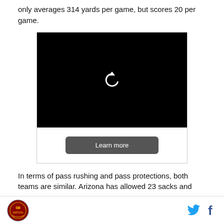only averages 314 yards per game, but scores 20 per game.
[Figure (screenshot): Black video player with a circular replay/refresh arrow icon in the center, and a 'Learn more' button below on a white background.]
In terms of pass rushing and pass protections, both teams are similar. Arizona has allowed 23 sacks and
Logo icon on left; Twitter and Facebook share icons on right